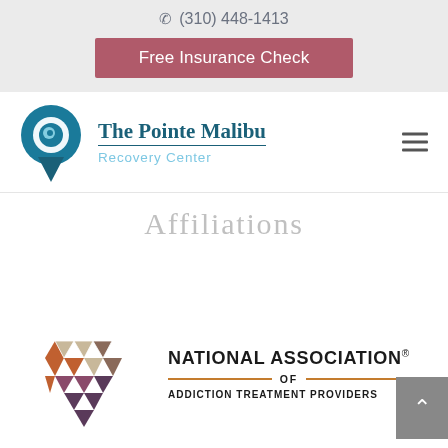(310) 448-1413
Free Insurance Check
[Figure (logo): The Pointe Malibu Recovery Center logo with teal map pin icon and wave design]
Affiliations
[Figure (logo): National Association of Addiction Treatment Providers (NAATP) logo with geometric hexagon made of colored triangles]